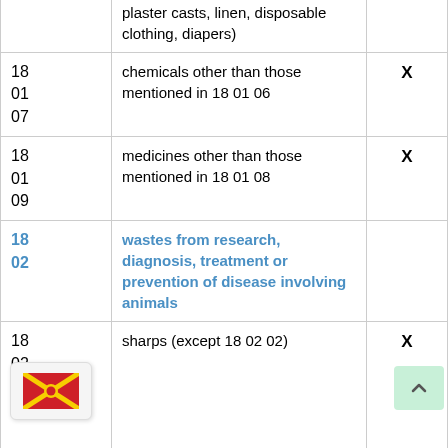| Code | Description | X |
| --- | --- | --- |
| (partial top) | plaster casts, linen, disposable clothing, diapers) |  |
| 18 01 07 | chemicals other than those mentioned in 18 01 06 | X |
| 18 01 09 | medicines other than those mentioned in 18 01 08 | X |
| 18 02 | wastes from research, diagnosis, treatment or prevention of disease involving animals |  |
| 18 02 01 | sharps (except 18 02 02) | X |
| (partial bottom) | (contamination related...) | X |